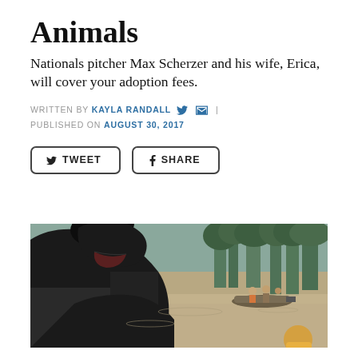Animals
Nationals pitcher Max Scherzer and his wife, Erica, will cover your adoption fees.
WRITTEN BY KAYLA RANDALL | PUBLISHED ON AUGUST 30, 2017
[Figure (other): Tweet and Share buttons]
[Figure (photo): A dark dog being lifted into a boat during a flood rescue operation, with people in a motorboat visible in the background amid floodwaters and trees.]